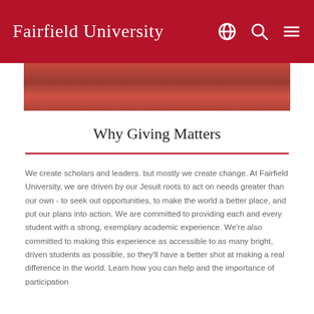Fairfield University
[Figure (photo): Partial photo of people wearing red shirts, cropped at top]
Why Giving Matters
We create scholars and leaders. but mostly we create change. At Fairfield University, we are driven by our Jesuit roots to act on needs greater than our own - to seek out opportunities, to make the world a better place, and put our plans into action. We are committed to providing each and every student with a strong, exemplary academic experience. We're also committed to making this experience as accessible to as many bright, driven students as possible, so they'll have a better shot at making a real difference in the world. Learn how you can help and the importance of participation